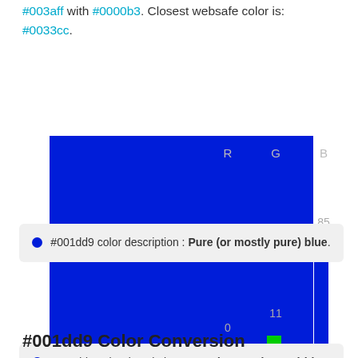#003aff with #0000b3. Closest websafe color is: #0033cc.
[Figure (other): Large blue color swatch rectangle showing color #001dd9]
[Figure (bar-chart): RGB color chart]
#001dd9 color description : Pure (or mostly pure) blue.
#001dd9 Color Conversion